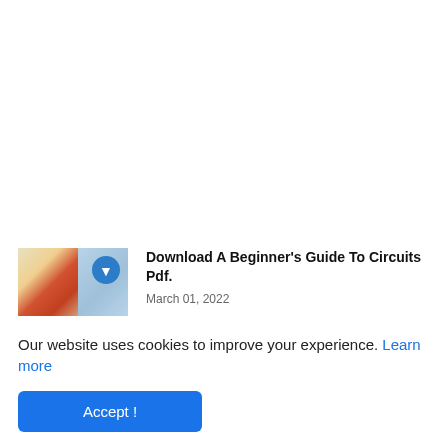[Figure (illustration): Thumbnail image of book cover for A Beginner's Guide To Circuits with a blue download icon overlay]
Download A Beginner's Guide To Circuits Pdf.
March 01, 2022
[Figure (illustration): Partially visible thumbnail image of a second book cover for Basic Electronics pdf]
Download Basic Electronics pdf.
Our website uses cookies to improve your experience. Learn more
Accept !